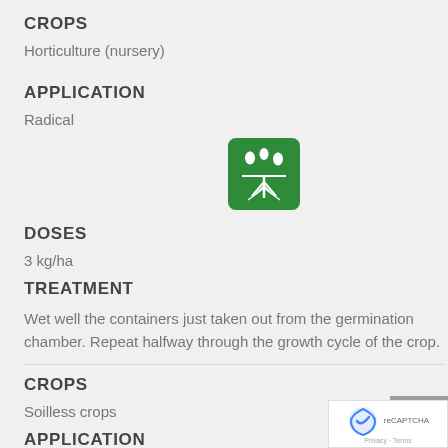CROPS
Horticulture (nursery)
APPLICATION
Radical
[Figure (illustration): Green icon showing water drops falling onto plant roots]
DOSES
3 kg/ha
TREATMENT
Wet well the containers just taken out from the germination chamber. Repeat halfway through the growth cycle of the crop.
CROPS
Soilless crops
APPLICATION